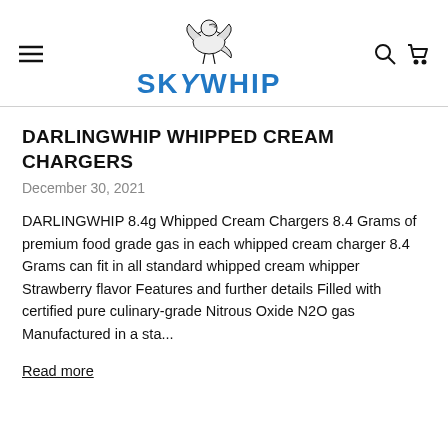SKYWHIP
DARLINGWHIP WHIPPED CREAM CHARGERS
December 30, 2021
DARLINGWHIP 8.4g Whipped Cream Chargers 8.4 Grams of premium food grade gas in each whipped cream charger 8.4 Grams can fit in all standard whipped cream whipper Strawberry flavor Features and further details Filled with certified pure culinary-grade Nitrous Oxide N2O gas Manufactured in a sta...
Read more